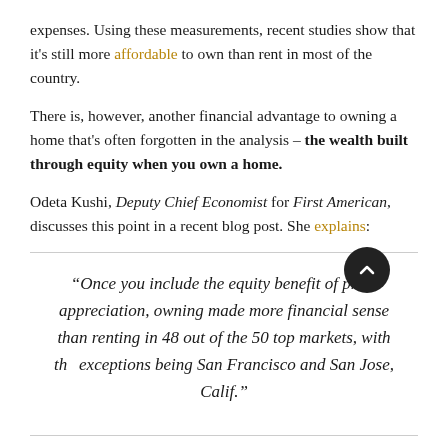expenses. Using these measurements, recent studies show that it's still more affordable to own than rent in most of the country.
There is, however, another financial advantage to owning a home that's often forgotten in the analysis – the wealth built through equity when you own a home.
Odeta Kushi, Deputy Chief Economist for First American, discusses this point in a recent blog post. She explains:
“Once you include the equity benefit of price appreciation, owning made more financial sense than renting in 48 out of the 50 top markets, with the exceptions being San Francisco and San Jose, Calif.”